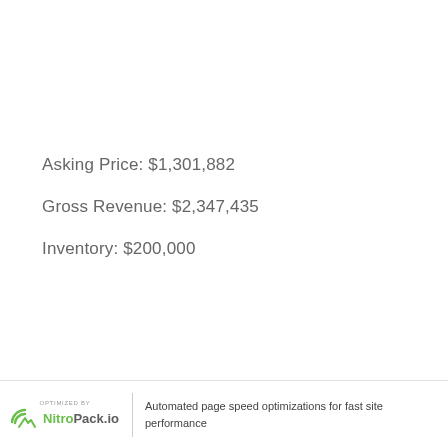Asking Price: $1,301,882
Gross Revenue: $2,347,435
Inventory: $200,000
OPTIMIZED BY NitroPack.io | Automated page speed optimizations for fast site performance